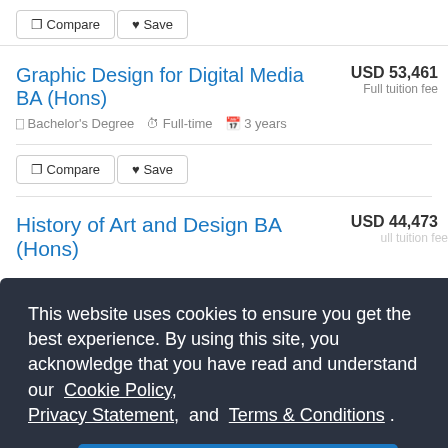Compare  Save
Graphic Design for Digital Media BA (Hons)
Bachelor's Degree  Full-time  3 years  USD 53,461  Full tuition fee
Compare  Save
History of Art and Design BA (Hons)
USD 44,473  Full tuition fee
This website uses cookies to ensure you get the best experience. By using this site, you acknowledge that you have read and understand our Cookie Policy, Privacy Statement, and Terms & Conditions .
OK
USD 53,461  Full tuition fee
Bachelor's Degree  Full-time  3 years  USD 53,461  Full tuition fee